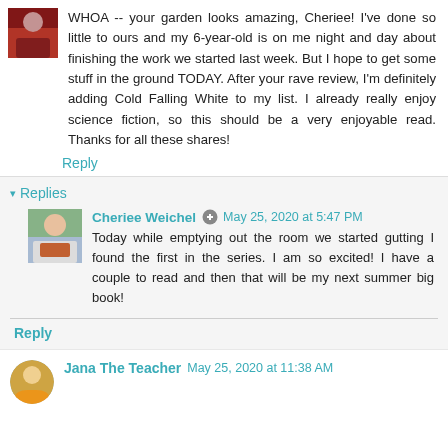[Figure (photo): Small square avatar photo of a person with dark hair]
WHOA -- your garden looks amazing, Cheriee! I've done so little to ours and my 6-year-old is on me night and day about finishing the work we started last week. But I hope to get some stuff in the ground TODAY. After your rave review, I'm definitely adding Cold Falling White to my list. I already really enjoy science fiction, so this should be a very enjoyable read. Thanks for all these shares!
Reply
Replies
Cheriee Weichel
May 25, 2020 at 5:47 PM
[Figure (photo): Small square avatar photo of Cheriee Weichel]
Today while emptying out the room we started gutting I found the first in the series. I am so excited! I have a couple to read and then that will be my next summer big book!
Reply
Jana The Teacher
May 25, 2020 at 11:38 AM